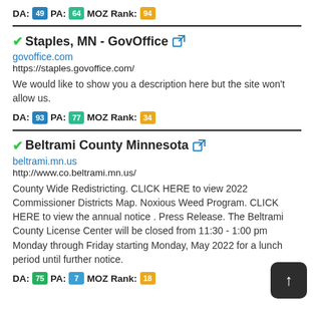DA: 49 PA: 64 MOZ Rank: 94
✓Staples, MN - GovOffice
govoffice.com
https://staples.govoffice.com/
We would like to show you a description here but the site won't allow us.
DA: 93 PA: 77 MOZ Rank: 34
✓Beltrami County Minnesota
beltrami.mn.us
http://www.co.beltrami.mn.us/
County Wide Redistricting. CLICK HERE to view 2022 Commissioner Districts Map. Noxious Weed Program. CLICK HERE to view the annual notice . Press Release. The Beltrami County License Center will be closed from 11:30 - 1:00 pm Monday through Friday starting Monday, May 2022 for a lunch period until further notice.
DA: 75 PA: 7 MOZ Rank: 18